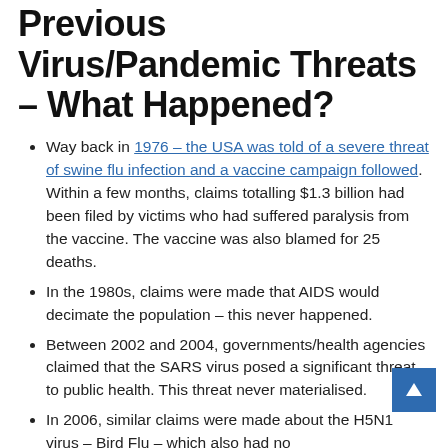Previous Virus/Pandemic Threats – What Happened?
Way back in 1976 – the USA was told of a severe threat of swine flu infection and a vaccine campaign followed. Within a few months, claims totalling $1.3 billion had been filed by victims who had suffered paralysis from the vaccine. The vaccine was also blamed for 25 deaths.
In the 1980s, claims were made that AIDS would decimate the population – this never happened.
Between 2002 and 2004, governments/health agencies claimed that the SARS virus posed a significant threat to public health. This threat never materialised.
In 2006, similar claims were made about the H5N1 virus – Bird Flu – which also had no...